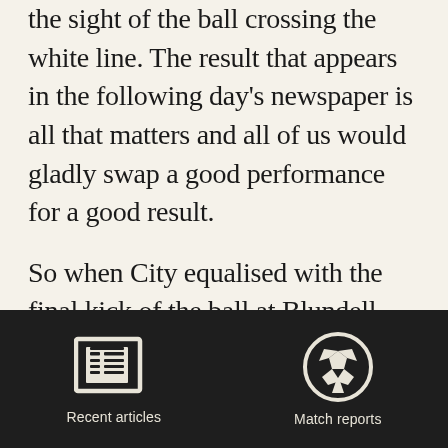the sight of the ball crossing the white line. The result that appears in the following day's newspaper is all that matters and all of us would gladly swap a good performance for a good result.
So when City equalised with the final kick of the ball at Blundell Park on Saturday, the disappointment of what had gone on before was eclipsed by wild celebrations and a pitch invasion
[Figure (illustration): Dark footer bar with two navigation icons: a newspaper/article icon labeled 'Recent articles' and a soccer ball icon labeled 'Match reports']